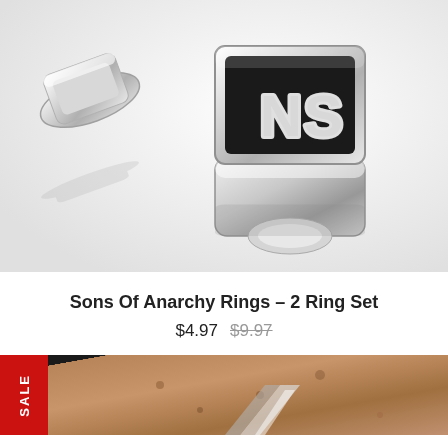[Figure (photo): Two silver Sons of Anarchy rings on white background. One ring shows 'NS' letters in silver on black enamel face. The rings cast reflections on the surface below.]
Sons Of Anarchy Rings - 2 Ring Set
$4.97  $9.97
[Figure (photo): Bottom portion of another product listing showing a silver ring on a sandy/rocky background with a red SALE badge on the left side.]